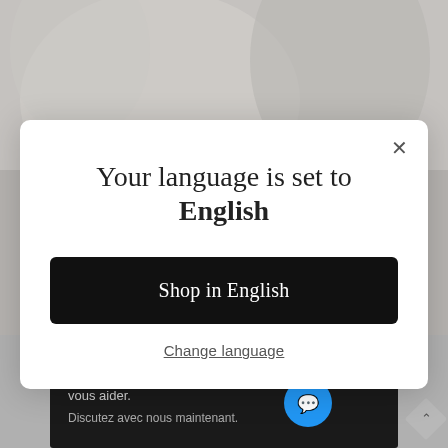[Figure (screenshot): Website background showing abstract light grey shapes in upper portion and a dark product banner with gold text at the bottom, with a French language chat widget overlay reading 'Des questions ? Nous pouvons vous aider. Discutez avec nous maintenant.']
Your language is set to English
Shop in English
Change language